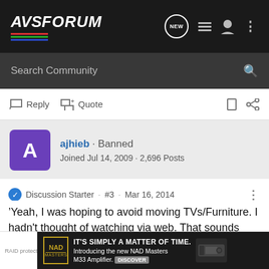AVSForum
Search Community
Reply  Quote
ajhieb · Banned
Joined Jul 14, 2009 · 2,696 Posts
Discussion Starter · #3 · Mar 16, 2014
Yeah, I was hoping to avoid moving TVs/Furniture. I hadn't thought of watching via web. That sounds promising. (if the quality is good)
RAID protect  IT'S SIMPLY A MATTER OF TIME. Introducing the new NAD Masters M33 Amplifier. DISCOVER